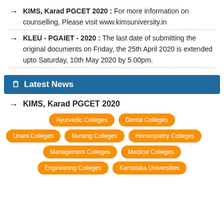KIMS, Karad PGCET 2020 : For more information on counselling, Please visit www.kimsuniversity.in
KLEU - PGAIET - 2020 : The last date of submitting the original documents on Friday, the 25th April 2020 is extended upto Saturday, 10th May 2020 by 5.00pm.
Latest News
KIMS, Karad PGCET 2020
Ayurvedic Colleges, Dental Colleges, Unani Colleges, Nursing Colleges, Homeopathy Colleges, Management Colleges, Medical Colleges, Engineering Colleges, Karnataka Universities